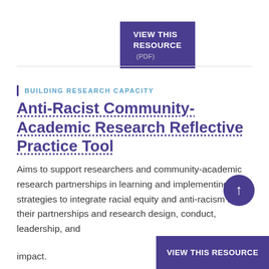[Figure (other): Purple button labeled VIEW THIS RESOURCE (PDF)]
BUILDING RESEARCH CAPACITY
Anti-Racist Community-Academic Research Reflective Practice Tool
Aims to support researchers and community-academic research partnerships in learning and implementing strategies to integrate racial equity and anti-racism into their partnerships and research design, conduct, leadership, and impact.
[Figure (other): Purple circular up-arrow button]
[Figure (other): Purple button labeled VIEW THIS RESOURCE]